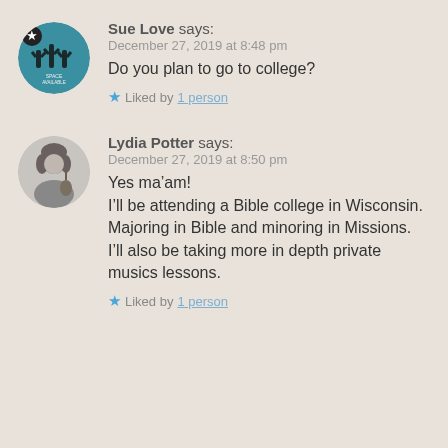Sue Love says: December 27, 2019 at 8:48 pm
Do you plan to go to college?
★ Liked by 1 person
Lydia Potter says: December 27, 2019 at 8:50 pm
Yes ma’am!
I’ll be attending a Bible college in Wisconsin. Majoring in Bible and minoring in Missions. I’ll also be taking more in depth private musics lessons.
★ Liked by 1 person